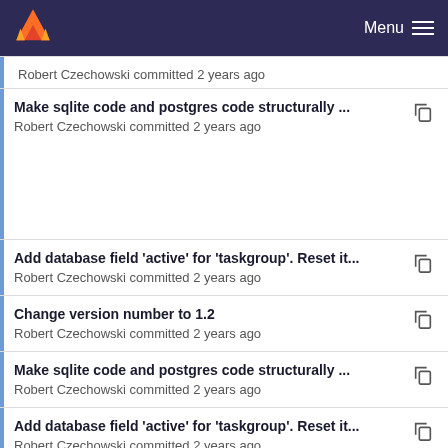Menu
Robert Czechowski committed 2 years ago
Make sqlite code and postgres code structurally ...
Robert Czechowski committed 2 years ago
Add database field 'active' for 'taskgroup'. Reset it...
Robert Czechowski committed 2 years ago
Change version number to 1.2
Robert Czechowski committed 2 years ago
Make sqlite code and postgres code structurally ...
Robert Czechowski committed 2 years ago
Add database field 'active' for 'taskgroup'. Reset it...
Robert Czechowski committed 2 years ago
Make sqlite code and postgres code structurally ...